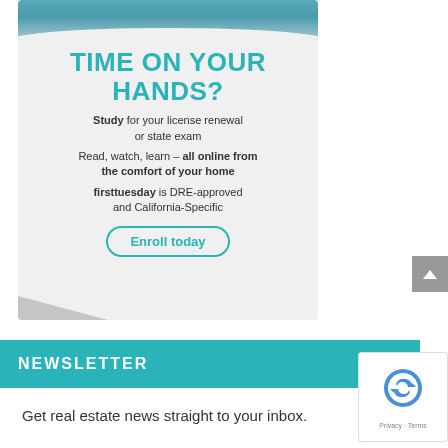[Figure (illustration): Promotional advertisement card for firsttuesday real estate education. Shows a teal/blue photo strip at top, with headline 'TIME ON YOUR HANDS?', body text about studying for license renewal, reading online, and firsttuesday being DRE-approved and California-Specific, with an 'Enroll today' button.]
TIME ON YOUR HANDS?
Study for your license renewal or state exam
Read, watch, learn – all online from the comfort of your home
firsttuesday is DRE-approved and California-Specific
Enroll today
NEWSLETTER
Get real estate news straight to your inbox.